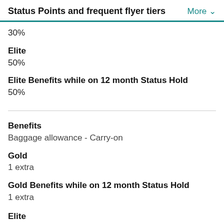Status Points and frequent flyer tiers   More
30%
Elite
50%
Elite Benefits while on 12 month Status Hold
50%
Benefits
Baggage allowance - Carry-on
Gold
1 extra
Gold Benefits while on 12 month Status Hold
1 extra
Elite